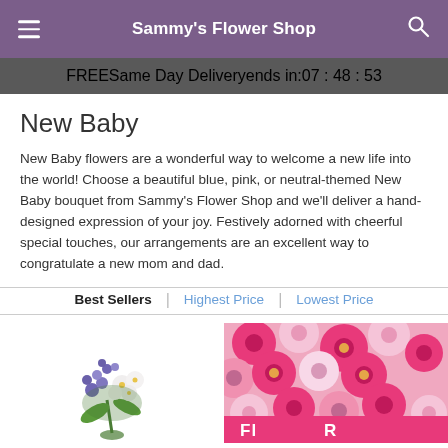Sammy's Flower Shop
FREE Same Day Delivery ends in: 07 : 48 : 53
New Baby
New Baby flowers are a wonderful way to welcome a new life into the world! Choose a beautiful blue, pink, or neutral-themed New Baby bouquet from Sammy's Flower Shop and we'll deliver a hand-designed expression of your joy. Festively adorned with cheerful special touches, our arrangements are an excellent way to congratulate a new mom and dad.
Best Sellers | Highest Price | Lowest Price
[Figure (photo): Purple and white flower arrangement bottom-left]
[Figure (photo): Bright pink and yellow flower bouquet on right side, with pink banner at bottom starting with 'Fl' and 'R']